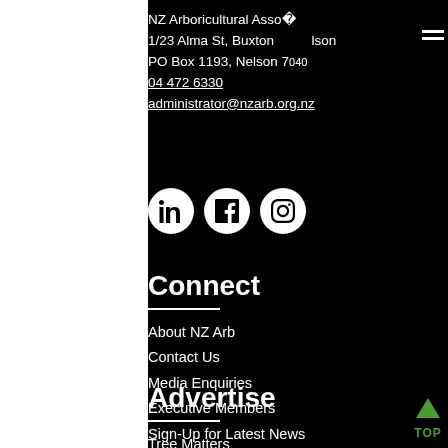NZ Arboricultural Asso[ciation]
1/23 Alma St, Buxton [Ne]lson
PO Box 1193, Nelson [7040]
04 472 6330
administrator@nzarb.org.nz
[Figure (illustration): Social media icons: LinkedIn, Facebook, Instagram — white circles with black symbols]
Connect
About NZ Arb
Contact Us
Media Enquiries
Executive Members
Sign-Up for Latest News
Advertise
Tree Matters
Monthly Mailing